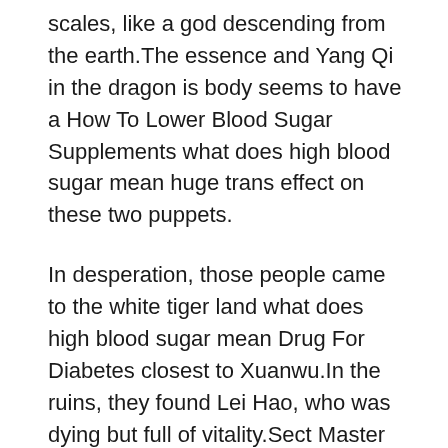scales, like a god descending from the earth.The essence and Yang Qi in the dragon is body seems to have a How To Lower Blood Sugar Supplements what does high blood sugar mean huge trans effect on these two puppets.
In desperation, those people came to the white tiger land what does high blood sugar mean Drug For Diabetes closest to Xuanwu.In the ruins, they found Lei Hao, who was dying but full of vitality.Sect Master Lei Hao is current condition is does high blood sugar go down still very good.Apart from being unconscious, there is no other serious problem.Qinglian said softly.The rest of the Hanyu Palace standing aside were also slightly impressed.After all, Lei Hao dared to break into this territory alone, and he had a lot of courage.There is a corpse next to it.It seems that it should be the follower of Young Master Lei Hao.It seems that a big battle has just happened here.Another person said softly.Qing Lian did not care so much, but her right hand was on Lei Hao is body and swam